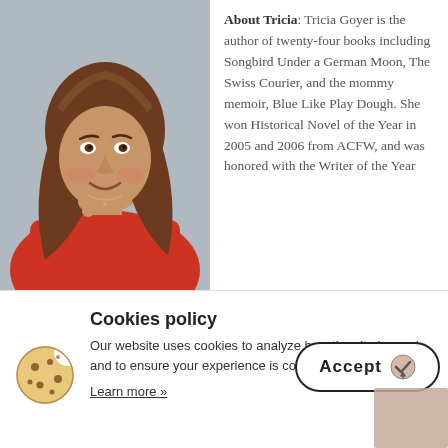[Figure (photo): Portrait photo of Tricia Goyer, a woman with brown wavy hair wearing a red blouse, posed with hand near chin, smiling.]
About Tricia: Tricia Goyer is the author of twenty-four books including Songbird Under a German Moon, The Swiss Courier, and the mommy memoir, Blue Like Play Dough. She won Historical Novel of the Year in 2005 and 2006 from ACFW, and was honored with the Writer of the Year
Cookies policy
Our website uses cookies to analyze how the site is used and to ensure your experience is consistent between visits.
Learn more »
[Figure (illustration): Cookie icon — a round cookie with chocolate chips and a bite taken out]
[Figure (other): Accept button with checkmark icon overlay in a rounded pill border]